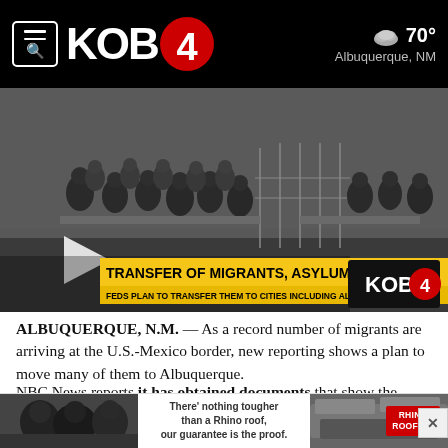KOB 4 — 70° Albuquerque, NM
[Figure (screenshot): Video thumbnail showing large group of migrants/asylum seekers in a detention facility with chain-link fencing. Play button overlay. Lower bar reads: 'TRANSFER OF MIGRANTS, ASYLUM SEEKERS' with subtitle 'FEDS PLAN TO TRANSFER THEM TO CITIES INCLUDING ALBUQUERQUE'. KOB 4 logo at lower right.]
ALBUQUERQUE, N.M. — As a record number of migrants are arriving at the U.S.-Mexico border, new reporting shows a plan to move many of them to Albuquerque.
NBC News reports it has obtained documents that show the Department of Homeland Security plans to transport migrants to U.S. cities. It was the first
[Figure (photo): Advertisement banner for Rhino Roofing with two photos and text: 'There's nothing tougher than a Rhino roof, our guarantee is the proof.']